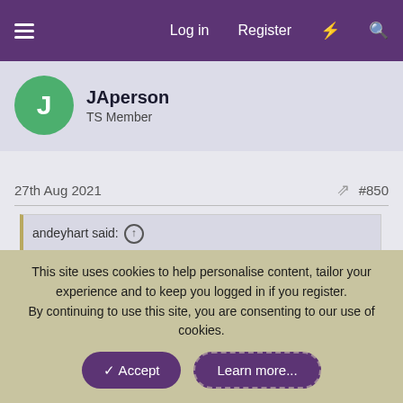Log in  Register
JAperson
TS Member
27th Aug 2021    #850
andeyhart said: ↑
[Figure (photo): Cropped photo of a roller coaster ride with metal tracks and greenery in the background.]
This site uses cookies to help personalise content, tailor your experience and to keep you logged in if you register.
By continuing to use this site, you are consenting to our use of cookies.
✓ Accept   Learn more...